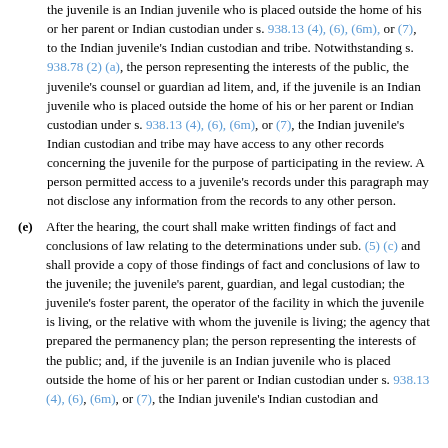the juvenile is an Indian juvenile who is placed outside the home of his or her parent or Indian custodian under s. 938.13 (4), (6), (6m), or (7), to the Indian juvenile's Indian custodian and tribe. Notwithstanding s. 938.78 (2) (a), the person representing the interests of the public, the juvenile's counsel or guardian ad litem, and, if the juvenile is an Indian juvenile who is placed outside the home of his or her parent or Indian custodian under s. 938.13 (4), (6), (6m), or (7), the Indian juvenile's Indian custodian and tribe may have access to any other records concerning the juvenile for the purpose of participating in the review. A person permitted access to a juvenile's records under this paragraph may not disclose any information from the records to any other person.
(e) After the hearing, the court shall make written findings of fact and conclusions of law relating to the determinations under sub. (5) (c) and shall provide a copy of those findings of fact and conclusions of law to the juvenile; the juvenile's parent, guardian, and legal custodian; the juvenile's foster parent, the operator of the facility in which the juvenile is living, or the relative with whom the juvenile is living; the agency that prepared the permanency plan; the person representing the interests of the public; and, if the juvenile is an Indian juvenile who is placed outside the home of his or her parent or Indian custodian under s. 938.13 (4), (6) (6m), or (7), the Indian juvenile's Indian custodian and tribe. The court shall make the findings specified in sub. (5)